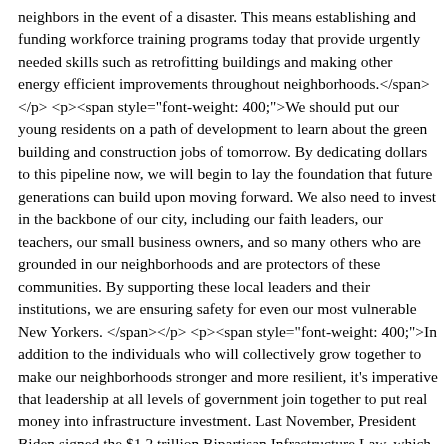neighbors in the event of a disaster. This means establishing and funding workforce training programs today that provide urgently needed skills such as retrofitting buildings and making other energy efficient improvements throughout neighborhoods.</span> </p> <p><span style="font-weight: 400;">We should put our young residents on a path of development to learn about the green building and construction jobs of tomorrow. By dedicating dollars to this pipeline now, we will begin to lay the foundation that future generations can build upon moving forward. We also need to invest in the backbone of our city, including our faith leaders, our teachers, our small business owners, and so many others who are grounded in our neighborhoods and are protectors of these communities. By supporting these local leaders and their institutions, we are ensuring safety for even our most vulnerable New Yorkers. </span></p> <p><span style="font-weight: 400;">In addition to the individuals who will collectively grow together to make our neighborhoods stronger and more resilient, it's imperative that leadership at all levels of government join together to put real money into infrastructure investment. Last November, President Biden signed the $1.2 trillion Bipartisan Infrastructure Law, which includes significant funding to make our infrastructure resilient against the impacts of climate change. I applaud these efforts, but our leadership in Congress must ensure some of this funding goes to protecting our NYCHA residents on the front lines of the climate threat.</span></p> <p><span